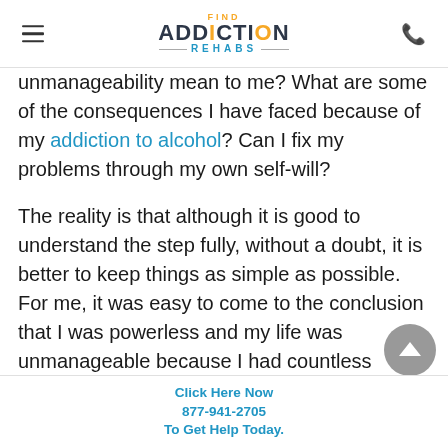FIND ADDICTION REHABS
unmanageability mean to me? What are some of the consequences I have faced because of my addiction to alcohol? Can I fix my problems through my own self-will?
The reality is that although it is good to understand the step fully, without a doubt, it is better to keep things as simple as possible. For me, it was easy to come to the conclusion that I was powerless and my life was unmanageable because I had countless examples of both unmanageability an
Click Here Now
877-941-2705
To Get Help Today.